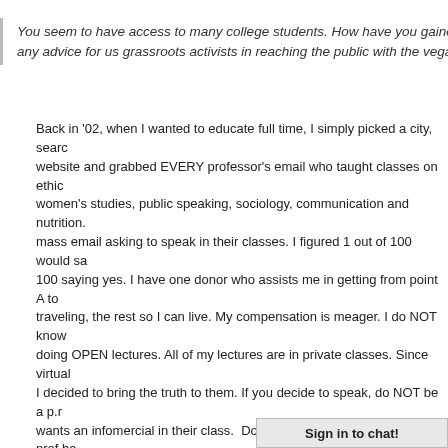You seem to have access to many college students. How have you gained that access? Do you have any advice for us grassroots activists in reaching the public with the vegan message?
Back in '02, when I wanted to educate full time, I simply picked a city, searched a university website and grabbed EVERY professor's email who taught classes on ethics, environmental studies, women's studies, public speaking, sociology, communication and nutrition. Then sent out a mass email asking to speak in their classes. I figured 1 out of 100 would say yes. I ended up with 100 saying yes. I have one donor who assists me in getting from point A to B – half goes to traveling, the rest so I can live. My compensation is meager. I do NOT know anyone who is doing OPEN lectures. All of my lectures are in private classes. Since virtually no one will come, I decided to bring the truth to them. If you decide to speak, do NOT be a p.r. person. No prof wants an infomercial in their class. Do NOT charge a fee either. No prof has money. Some offer honorariums for OPEN presentations but then you're faced with the problem that the only who will show up for a veg presentation is vegetarians/vegans. And this molds the preaching to the choir mentality. Telling vegetarians/vegans about vegetarianism/veganism is pointless. Profs invite me in their classroom is because of my colorful background as well. 13 arrests, lived in Canada in '97. Profs tell me that I bring to life the writings of Singer and Regan for both teacher/audience. Again, no gimmicks and no BS, contrary to popular opinion, I believe educating NON vegetarians and NON vegans about vegetarianism and veganism is by far the most effective form of activism.
Sign in to chat!